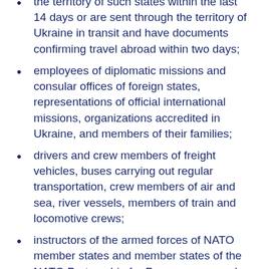the territory of such states within the last 14 days or are sent through the territory of Ukraine in transit and have documents confirming travel abroad within two days;
employees of diplomatic missions and consular offices of foreign states, representations of official international missions, organizations accredited in Ukraine, and members of their families;
drivers and crew members of freight vehicles, buses carrying out regular transportation, crew members of air and sea, river vessels, members of train and locomotive crews;
instructors of the armed forces of NATO member states and member states of the NATO Partnership for Peace program who participate in training activities for the units of the Armed Forces of Ukraine;
cultural workers at the invitation of a cultural